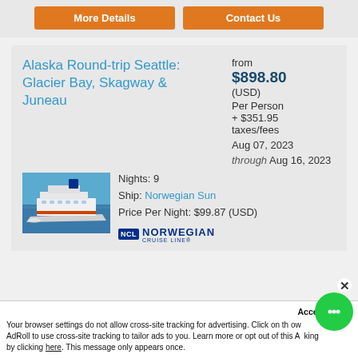[Figure (other): Two orange buttons: 'More Details' and 'Contact Us']
Alaska Round-trip Seattle: Glacier Bay, Skagway & Juneau
from $898.80 (USD) Per Person + $351.95 taxes/fees Aug 07, 2023 through Aug 16, 2023
[Figure (photo): Cruise ship at sea, aerial view]
Nights: 9
Ship: Norwegian Sun
Price Per Night: $99.87 (USD)
[Figure (logo): Norwegian Cruise Line NCL logo]
Your browser settings do not allow cross-site tracking for advertising. Click on the allow AdRoll to use cross-site tracking to tailor ads to you. Learn more or opt out of this AdRoll tracking by clicking here. This message only appears once.